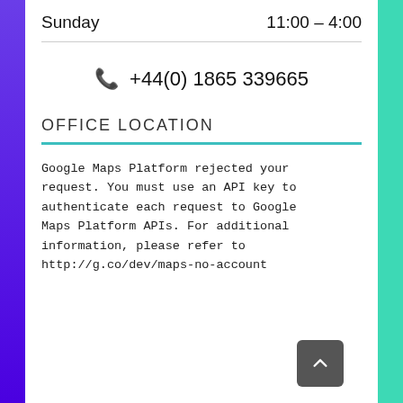Sunday    11:00 – 4:00
📞 +44(0) 1865 339665
OFFICE LOCATION
Google Maps Platform rejected your request. You must use an API key to authenticate each request to Google Maps Platform APIs. For additional information, please refer to http://g.co/dev/maps-no-account